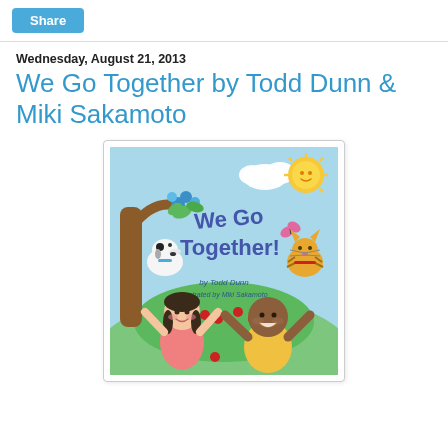Share
Wednesday, August 21, 2013
We Go Together by Todd Dunn & Miki Sakamoto
[Figure (illustration): Book cover of 'We Go Together!' by Todd Dunn, illustrated by Miki Sakamoto. Shows two children (a girl in pink and a boy in yellow) with arms raised joyfully, a white dog, a striped cat, flowers, a tree with blue blossoms, clouds, and a smiling sun on a colorful background.]